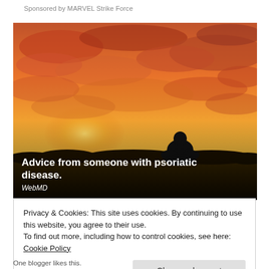Sponsored by MARVEL Strike Force
[Figure (photo): Silhouette of a person sitting in a field against a dramatic orange and red sunset sky, with text overlay reading 'Advice from someone with psoriatic disease.' and 'WebMD']
Privacy & Cookies: This site uses cookies. By continuing to use this website, you agree to their use.
To find out more, including how to control cookies, see here: Cookie Policy
Close and accept
One blogger likes this.